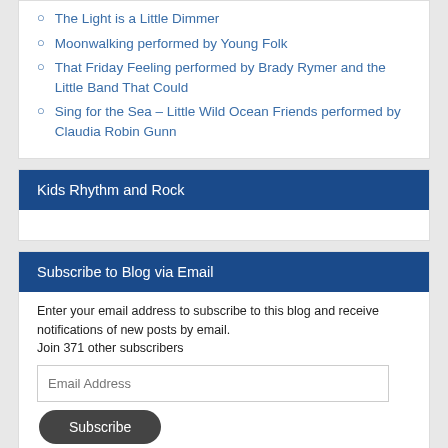The Light is a Little Dimmer
Moonwalking performed by Young Folk
That Friday Feeling performed by Brady Rymer and the Little Band That Could
Sing for the Sea – Little Wild Ocean Friends performed by Claudia Robin Gunn
Kids Rhythm and Rock
Subscribe to Blog via Email
Enter your email address to subscribe to this blog and receive notifications of new posts by email.
Join 371 other subscribers